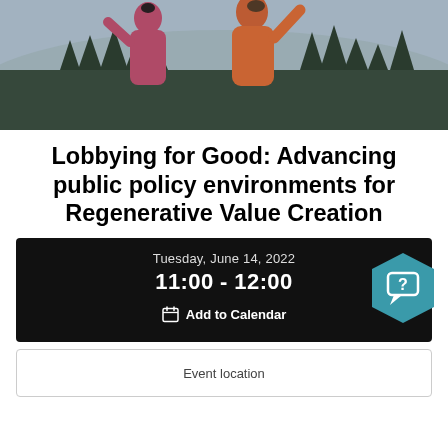[Figure (photo): Two women in athletic wear (pink and orange) with arms raised, standing outdoors with pine trees and overcast sky in background]
Lobbying for Good: Advancing public policy environments for Regenerative Value Creation
Tuesday, June 14, 2022
11:00 - 12:00
Add to Calendar
Event location